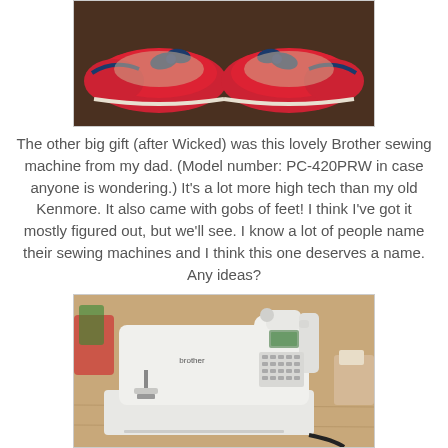[Figure (photo): A pair of red patent leather ballet flat shoes with navy blue bow accents, photographed on a dark brown background.]
The other big gift (after Wicked) was this lovely Brother sewing machine from my dad. (Model number: PC-420PRW in case anyone is wondering.) It's a lot more high tech than my old Kenmore. It also came with gobs of feet! I think I've got it mostly figured out, but we'll see. I know a lot of people name their sewing machines and I think this one deserves a name. Any ideas?
[Figure (photo): A white Brother brand computerized sewing machine (model PC-420PRW) sitting on a wooden table surface, with a small digital display panel and multiple stitch selection buttons visible on the front.]